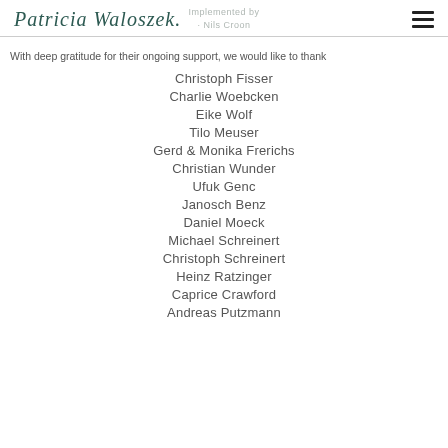Patricia Waloszek. | Implemented by · Nils Croon
With deep gratitude for their ongoing support, we would like to thank
Christoph Fisser
Charlie Woebcken
Eike Wolf
Tilo Meuser
Gerd & Monika Frerichs
Christian Wunder
Ufuk Genc
Janosch Benz
Daniel Moeck
Michael Schreinert
Christoph Schreinert
Heinz Ratzinger
Caprice Crawford
Andreas Putzmann